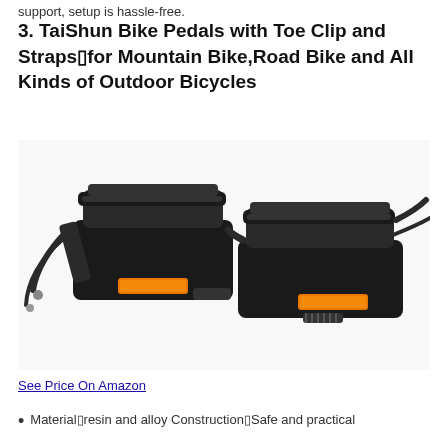support, setup is hassle-free.
3. TaiShun Bike Pedals with Toe Clip and Straps▯for Mountain Bike,Road Bike and All Kinds of Outdoor Bicycles
[Figure (photo): Photo of a pair of black bike pedals with toe clips and orange reflectors, black straps visible, shown on white background.]
See Price On Amazon
Material▯resin and alloy Construction▯Safe and practical